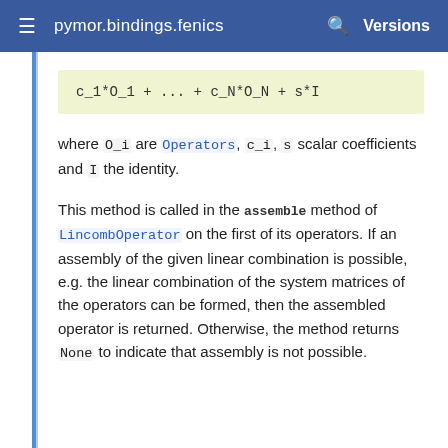pymor.bindings.fenics  Versions
where O_i are Operators, c_i, s scalar coefficients and I the identity.
This method is called in the assemble method of LincombOperator on the first of its operators. If an assembly of the given linear combination is possible, e.g. the linear combination of the system matrices of the operators can be formed, then the assembled operator is returned. Otherwise, the method returns None to indicate that assembly is not possible.